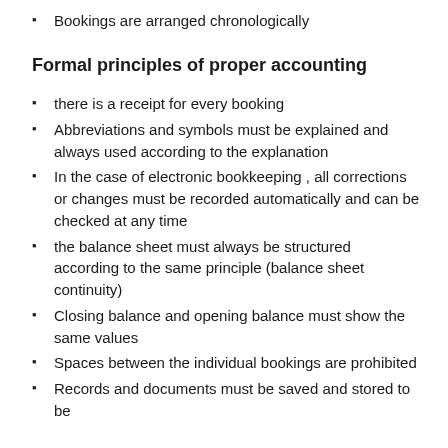Bookings are arranged chronologically
Formal principles of proper accounting
there is a receipt for every booking
Abbreviations and symbols must be explained and always used according to the explanation
In the case of electronic bookkeeping , all corrections or changes must be recorded automatically and can be checked at any time
the balance sheet must always be structured according to the same principle (balance sheet continuity)
Closing balance and opening balance must show the same values
Spaces between the individual bookings are prohibited
Records and documents must be saved and stored to be